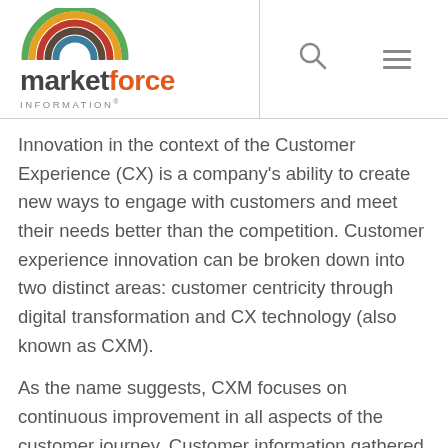[Figure (logo): Market Force Information logo with rainbow arc graphic above text reading 'marketforce INFORMATION®']
Innovation in the context of the Customer Experience (CX) is a company's ability to create new ways to engage with customers and meet their needs better than the competition. Customer experience innovation can be broken down into two distinct areas: customer centricity through digital transformation and CX technology (also known as CXM).
As the name suggests, CXM focuses on continuous improvement in all aspects of the customer journey. Customer information gathered throughout this process feeds back into strategies for better awareness, engagement, satisfaction, and loyalty toward future engagements. A focus on innovation allows companies to think about their customers'